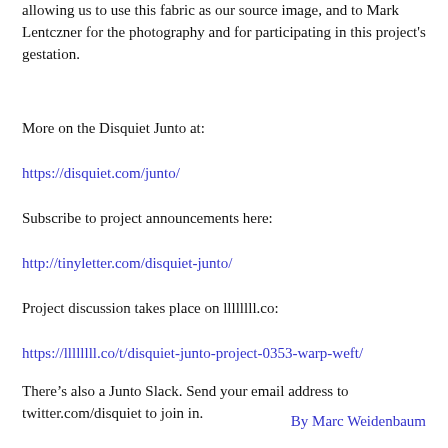allowing us to use this fabric as our source image, and to Mark Lentczner for the photography and for participating in this project's gestation.
More on the Disquiet Junto at:
https://disquiet.com/junto/
Subscribe to project announcements here:
http://tinyletter.com/disquiet-junto/
Project discussion takes place on llllllll.co:
https://llllllll.co/t/disquiet-junto-project-0353-warp-weft/
There’s also a Junto Slack. Send your email address to twitter.com/disquiet to join in.
By Marc Weidenbaum